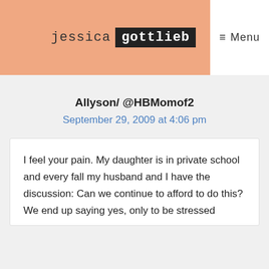jessica gottlieb — Menu
Allyson/ @HBMomof2
September 29, 2009 at 4:06 pm
I feel your pain. My daughter is in private school and every fall my husband and I have the discussion: Can we continue to afford to do this? We end up saying yes, only to be stressed